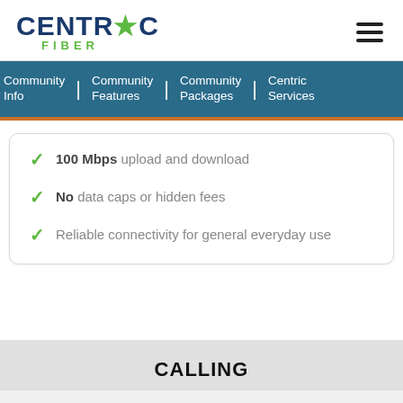Centric Fiber logo and navigation menu
Community Info | Community Features | Community Packages | Centric Services
100 Mbps upload and download
No data caps or hidden fees
Reliable connectivity for general everyday use
CALLING